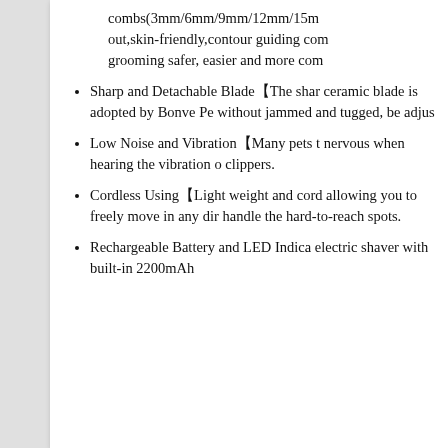combs(3mm/6mm/9mm/12mm/15m... out,skin-friendly,contour guiding com... grooming safer, easier and more com...
Sharp and Detachable Blade【The shar... ceramic blade is adopted by Bonve Pe... without jammed and tugged, be adjus...
Low Noise and Vibration【Many pets t... nervous when hearing the vibration o... clippers.
Cordless Using【Light weight and cord... allowing you to freely move in any dir... handle the hard-to-reach spots.
Rechargeable Battery and LED Indica... electric shaver with built-in 2200mAh...